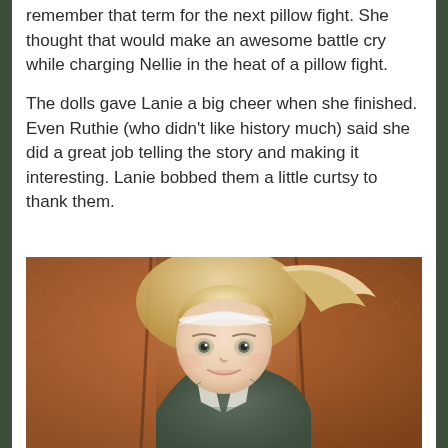remember that term for the next pillow fight. She thought that would make an awesome battle cry while charging Nellie in the heat of a pillow fight.
The dolls gave Lanie a big cheer when she finished. Even Ruthie (who didn't like history much) said she did a great job telling the story and making it interesting. Lanie bobbed them a little curtsy to thank them.
[Figure (photo): Photograph of a blonde American Girl doll with a white headband, wearing a dark green tweed jacket, posed against a reddish-orange patterned sofa background.]